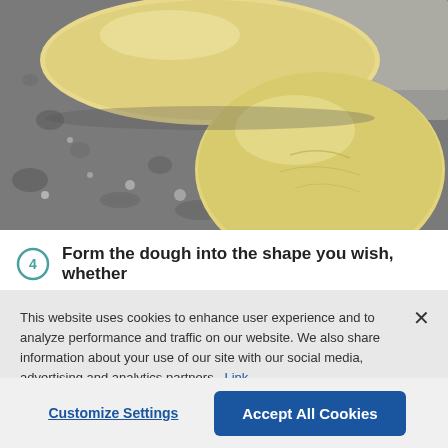[Figure (photo): Two round balls of pale yellow dough resting on a dark granite surface with parchment paper in the background]
4 Form the dough into the shape you wish, whether
This website uses cookies to enhance user experience and to analyze performance and traffic on our website. We also share information about your use of our site with our social media, advertising and analytics partners. Link to Cookie Policy
Customize Settings
Accept All Cookies